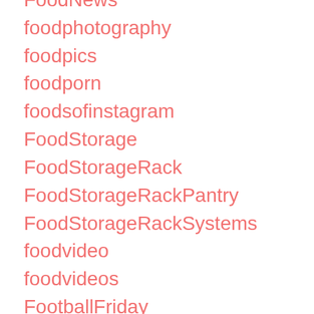FoodNews
foodphotography
foodpics
foodporn
foodsofinstagram
FoodStorage
FoodStorageRack
FoodStorageRackPantry
FoodStorageRackSystems
foodvideo
foodvideos
FootballFriday
france
FreePrintables
FreeShipping